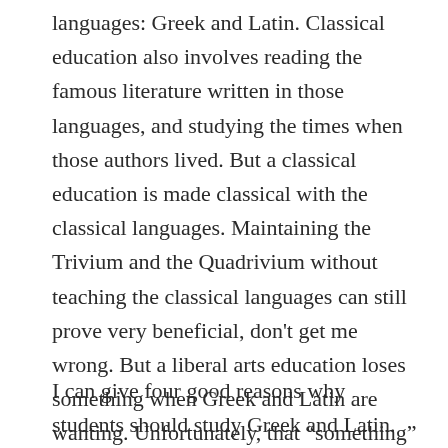languages: Greek and Latin. Classical education also involves reading the famous literature written in those languages, and studying the times when those authors lived. But a classical education is made classical with the classical languages. Maintaining the Trivium and the Quadrivium without teaching the classical languages can still prove very beneficial, don't get me wrong. But a liberal arts education loses something when Greek and Latin are wanting. Unfortunately, that “something” can be difficult to identify; nevertheless, I’ll try my best to put my finger on it.
I can give four good reasons why students should study Greek and Latin. Someone more learned